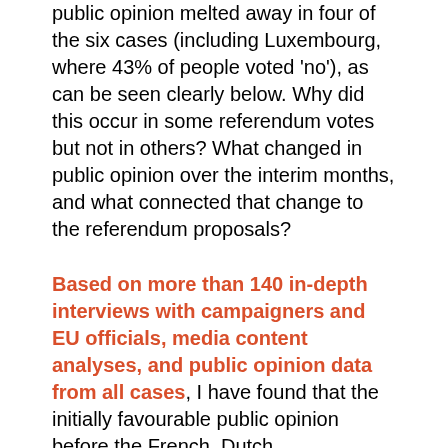public opinion melted away in four of the six cases (including Luxembourg, where 43% of people voted 'no'), as can be seen clearly below. Why did this occur in some referendum votes but not in others? What changed in public opinion over the interim months, and what connected that change to the referendum proposals?
Based on more than 140 in-depth interviews with campaigners and EU officials, media content analyses, and public opinion data from all cases, I have found that the initially favourable public opinion before the French, Dutch, Luxembourgish, and first Irish referendums fell dramatically due to how the anti-treaty campaigners were able to frame the issue. In all cases the anti-treaty arguments suggested that treaty ratification would increase immigration; lead to market-friendly reforms; increase unemployment: promote a decline in the welfare state model; undermine national sovereignty; introduce conscription to an EU army; or